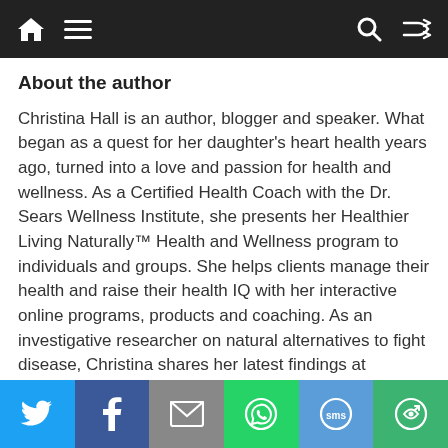Navigation bar with home, menu, search, shuffle icons
About the author
Christina Hall is an author, blogger and speaker. What began as a quest for her daughter's heart health years ago, turned into a love and passion for health and wellness. As a Certified Health Coach with the Dr. Sears Wellness Institute, she presents her Healthier Living Naturally™ Health and Wellness program to individuals and groups. She helps clients manage their health and raise their health IQ with her interactive online programs, products and coaching. As an investigative researcher on natural alternatives to fight disease, Christina shares her latest findings at
Social share bar: Twitter, Facebook, Email, WhatsApp, SMS, More